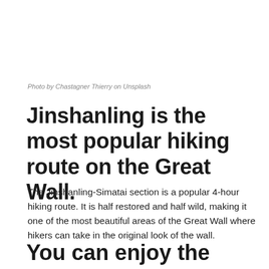Photo by Chastagner Thierry on Unsplash
Jinshanling is the most popular hiking route on the Great Wall.
The Jinshanling-Simatai section is a popular 4-hour hiking route. It is half restored and half wild, making it one of the most beautiful areas of the Great Wall where hikers can take in the original look of the wall.
You can enjoy the night view of